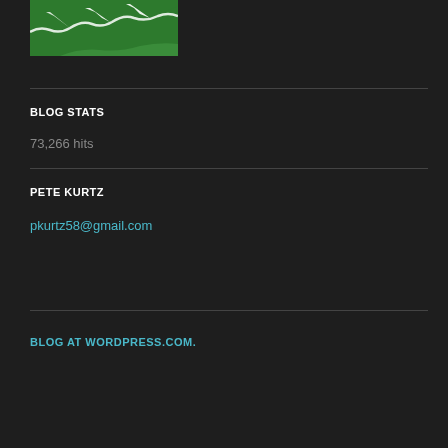[Figure (logo): Green mountain/landscape logo image with white stylized mountain and snow design on green background]
BLOG STATS
73,266 hits
PETE KURTZ
pkurtz58@gmail.com
BLOG AT WORDPRESS.COM.